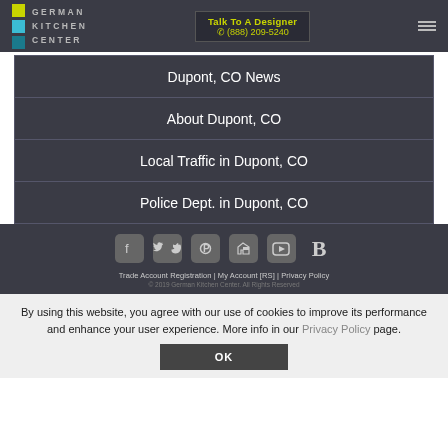[Figure (logo): German Kitchen Center logo with colored squares and text]
Talk To A Designer (888) 209-5240
Dupont, CO News
About Dupont, CO
Local Traffic in Dupont, CO
Police Dept. in Dupont, CO
[Figure (other): Row of social media icons: Facebook, Twitter, Pinterest, Houzz, YouTube, Blogger]
Trade Account Registration | My Account [RS] | Privacy Policy
© 2019 German Kitchen Center. All Rights Reserved
By using this website, you agree with our use of cookies to improve its performance and enhance your user experience. More info in our Privacy Policy page.
OK